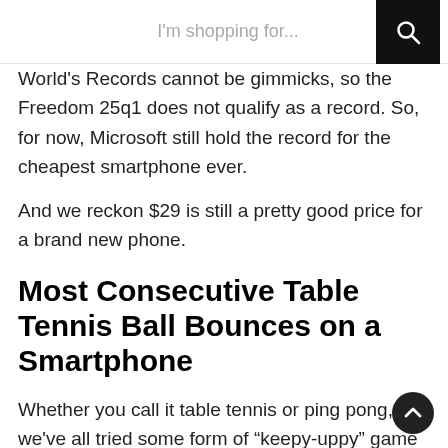I'm shopping for...
World's Records cannot be gimmicks, so the Freedom 25q1 does not qualify as a record. So, for now, Microsoft still hold the record for the cheapest smartphone ever.
And we reckon $29 is still a pretty good price for a brand new phone.
Most Consecutive Table Tennis Ball Bounces on a Smartphone
Whether you call it table tennis or ping pong, we've all tried some form of “keepy-uppy” game with the ball at some time. The history of the record is quite elaborate. At some t...